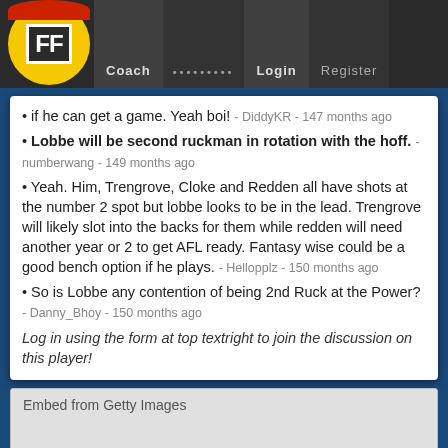FF Coach | ••••••••• | Login | Register
if he can get a game. Yeah boi! - DiddyKR - 147 months ago
Lobbe will be second ruckman in rotation with the hoff. - numberwang - 149 months ago
Yeah. Him, Trengrove, Cloke and Redden all have shots at the number 2 spot but lobbe looks to be in the lead. Trengrove will likely slot into the backs for them while redden will need another year or 2 to get AFL ready. Fantasy wise could be a good bench option if he plays. - Hellopplz - 150 months ago
So is Lobbe any contention of being 2nd Ruck at the Power? - Danny_Bhoy - 150 months ago
Log in using the form at top textright to join the discussion on this player!
[Figure (other): Embed from Getty Images placeholder box]